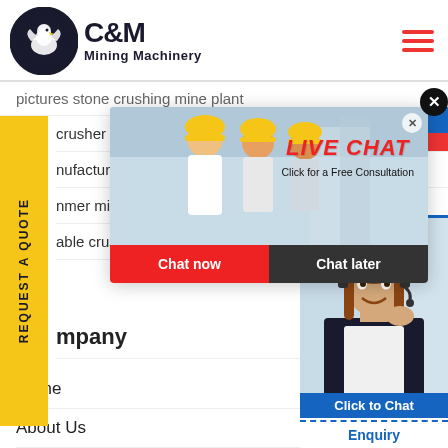[Figure (logo): C&M Mining Machinery logo with eagle/gear icon]
pictures stone crushing mine plant
crusher gibraltar price
nufacture
nmer mill
able crus
[Figure (photo): Live chat popup with workers in hard hats, Chat now and Chat later buttons]
mpany
Home
About Us
Enquiry